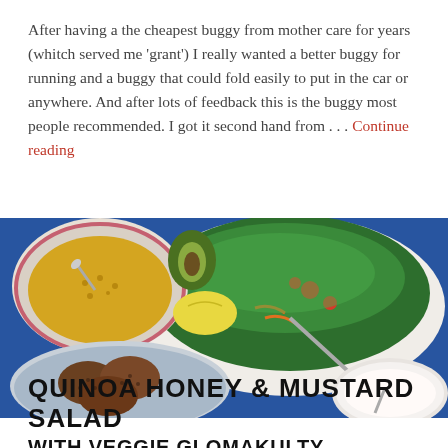After having a the cheapest buggy from mother care for years (whitch served me 'grant') I really wanted a better buggy for running and a buggy that could fold easily to put in the car or anywhere. And after lots of feedback this is the buggy most people recommended. I got it second hand from . . . Continue reading
[Figure (photo): Overhead view of food on a blue table: a bowl with a green salad containing tomatoes and watercress, a patterned bowl with yellow grain/mustard dressing, a lemon wedge, bowls with what appear to be veggie patties and a white dip or pudding, and a spoon.]
QUINOA HONEY & MUSTARD SALAD WITH VEGGIEGLOMAKULTY PUDDING